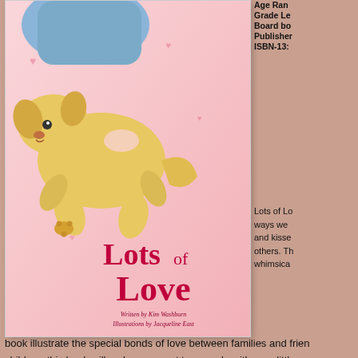[Figure (illustration): Book cover of 'Lots of Love' showing a yellow puppy lying on its back on a pink background with hearts, being petted by a child in blue clothing. Text reads 'Lots of Love' in dark pink/crimson, Written by Kim Washburn, Illustrations by Jacqueline East.]
Age Range:
Grade Level:
Board book:
Publisher:
ISBN-13:
Lots of Love celebrates the many ways we show love—through hugs and kisses, and caring for others. The vibrant and whimsical illustrations in this book illustrate the special bonds of love between families and friends. Perfect for young children, this book will make you want to snuggle with your little one and celebrate the greatest blessing of all—love!
My thoughts: First, the disclaimer. "I was provided a free copy of this book to review but all thoughts are my own." That done, LOTS OF LOVE is a very cute book that would make a wonderful gift for your favorite baby, toddler, or preschooler for a Valentine gift (or any time of year). I like the kisses and ways to show love included in the book, from pet's kisses to grandma's, grandpa's, daddy's, mommy's and more.